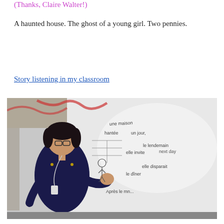(Thanks, Claire Walter!)
A haunted house. The ghost of a young girl. Two pennies.
Story listening in my classroom
[Figure (photo): A female teacher standing in front of a whiteboard with handwritten French story words and diagrams, in a classroom setting. The teacher is wearing a dark top with a lanyard and gesturing with her hand.]